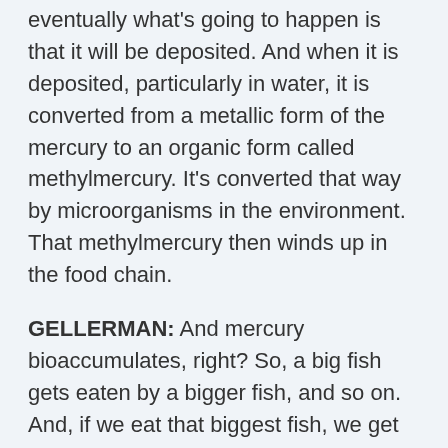eventually what's going to happen is that it will be deposited. And when it is deposited, particularly in water, it is converted from a metallic form of the mercury to an organic form called methylmercury. It's converted that way by microorganisms in the environment. That methylmercury then winds up in the food chain.
GELLERMAN: And mercury bioaccumulates, right? So, a big fish gets eaten by a bigger fish, and so on. And, if we eat that biggest fish, we get the total accumulation of mercury.
GOLDMAN: Yeah, and since we're like the biggest fish, and we like eating the big fish - we like eating fish, you know, that particularly have high levels of mercury like shark and swordfish and mackerel, which we really need to avoid - especially pregnant women shouldn't eat those